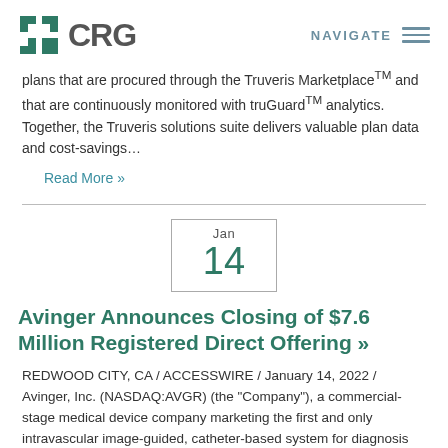CRG  NAVIGATE
plans that are procured through the Truveris Marketplace TM and that are continuously monitored with truGuardTM analytics. Together, the Truveris solutions suite delivers valuable plan data and cost-savings…
Read More »
Jan 14
Avinger Announces Closing of $7.6 Million Registered Direct Offering »
REDWOOD CITY, CA / ACCESSWIRE / January 14, 2022 / Avinger, Inc. (NASDAQ:AVGR) (the "Company"), a commercial-stage medical device company marketing the first and only intravascular image-guided, catheter-based system for diagnosis and treatment of Peripheral Artery Disease (PAD), today announced the closing of its previously announced registered direct offering of an aggregate of 7,600 shares of Series D convertible preferred stock